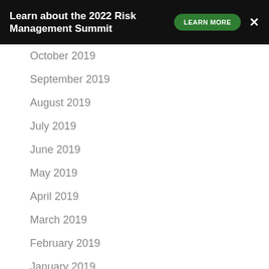Learn about the 2022 Risk Management Summit  LEARN MORE  ×
October 2019
September 2019
August 2019
July 2019
June 2019
May 2019
April 2019
March 2019
February 2019
January 2019
December 2018